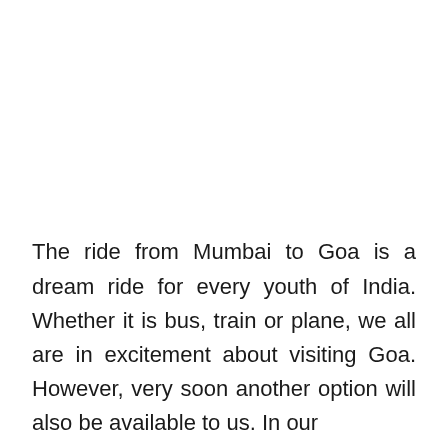The ride from Mumbai to Goa is a dream ride for every youth of India. Whether it is bus, train or plane, we all are in excitement about visiting Goa. However, very soon another option will also be available to us. In our next article, A Free Service from Mumbai to